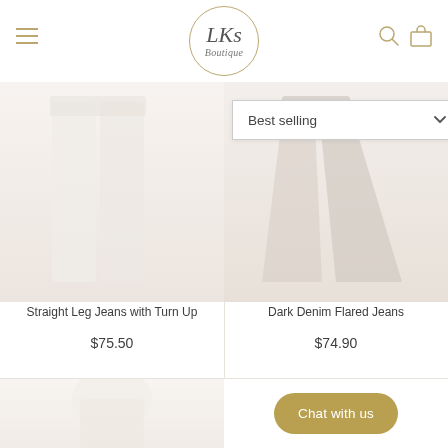LKS Boutique
[Figure (screenshot): Sort dropdown showing 'Best selling' with chevron down]
[Figure (photo): White straight leg jeans with turn up, faded/light product photo]
Straight Leg Jeans with Turn Up
$75.50
[Figure (photo): Dark denim flared jeans, faded/light product photo]
Dark Denim Flared Jeans
$74.90
[Figure (photo): White/light top garment, partially visible at bottom left]
Chat with us